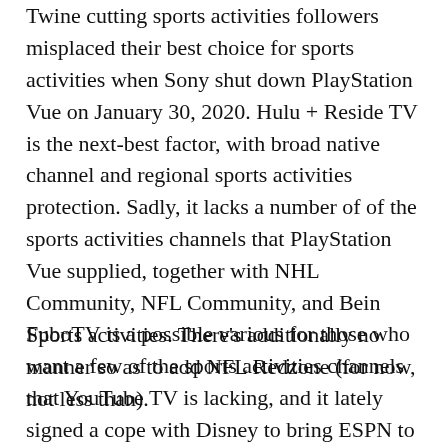Twine cutting sports activities followers misplaced their best choice for sports activities when Sony shut down PlayStation Vue on January 30, 2020. Hulu + Reside TV is the next-best factor, with broad native channel and regional sports activities protection. Sadly, it lacks a number of of the sports activities channels that PlayStation Vue supplied, together with NHL Community, NFL Community, and Bein Sports activities. There’s additionally no manner so as to add NFL Redzone (for now, not less than).
FuboTV is a possible various for those who want a few of the sports activities channels that YouTube TV is lacking, and it lately signed a cope with Disney to bring ESPN to its lineup. It